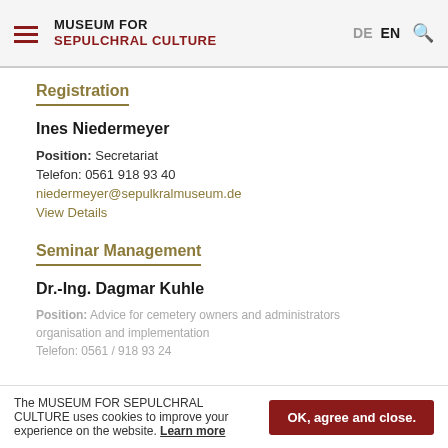MUSEUM FOR SEPULCHRAL CULTURE — DE EN
Registration
Ines Niedermeyer
Position: Secretariat
Telefon: 0561 918 93 40
niedermeyer@sepulkralmuseum.de
View Details
Seminar Management
Dr.-Ing. Dagmar Kuhle
Position: Advice for cemetery owners and administrators organisation and implementation
Telefon: 0561 / 918 93 24
The MUSEUM FOR SEPULCHRAL CULTURE uses cookies to improve your experience on the website. Learn more  OK, agree and close.